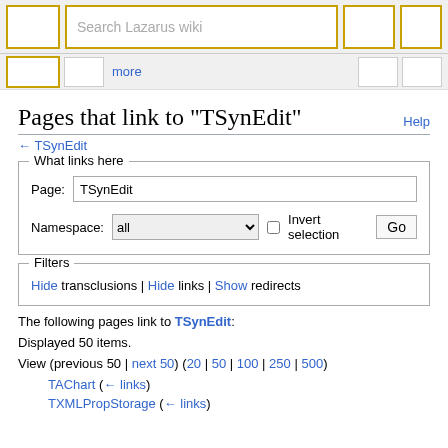Search Lazarus wiki
Pages that link to "TSynEdit"
← TSynEdit
What links here — Page: TSynEdit  Namespace: all  Invert selection  Go
Filters — Hide transclusions | Hide links | Show redirects
The following pages link to TSynEdit:
Displayed 50 items.
View (previous 50 | next 50) (20 | 50 | 100 | 250 | 500)
TAChart  (← links)
TXMLPropStorage  (← links)